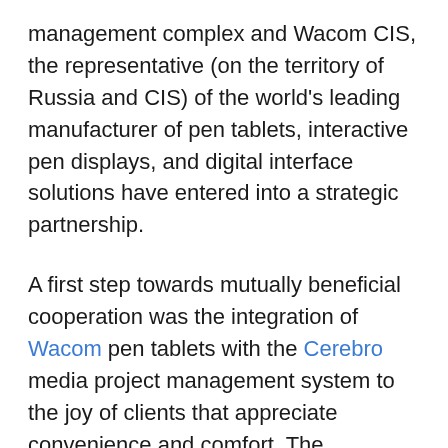management complex and Wacom CIS, the representative (on the territory of Russia and CIS) of the world's leading manufacturer of pen tablets, interactive pen displays, and digital interface solutions have entered into a strategic partnership.
A first step towards mutually beneficial cooperation was the integration of Wacom pen tablets with the Cerebro media project management system to the joy of clients that appreciate convenience and comfort. The integration of these two products will give users new opportunities to realize their creative potential, plus will drastically